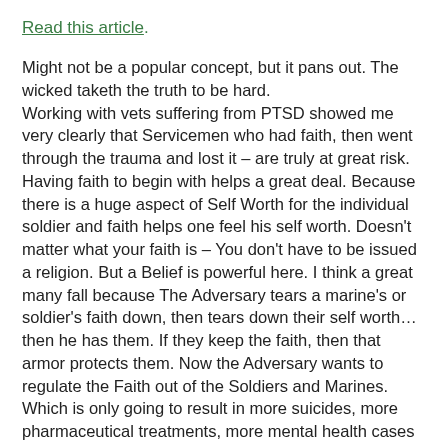Read this article.
Might not be a popular concept, but it pans out. The wicked taketh the truth to be hard.
Working with vets suffering from PTSD showed me very clearly that Servicemen who had faith, then went through the trauma and lost it – are truly at great risk. Having faith to begin with helps a great deal. Because there is a huge aspect of Self Worth for the individual soldier and faith helps one feel his self worth. Doesn't matter what your faith is – You don't have to be issued a religion. But a Belief is powerful here. I think a great many fall because The Adversary tears a marine's or soldier's faith down, then tears down their self worth... then he has them. If they keep the faith, then that armor protects them. Now the Adversary wants to regulate the Faith out of the Soldiers and Marines.  Which is only going to result in more suicides, more pharmaceutical treatments, more mental health cases that cause loss of gun rights and more institutionalization where all of it could have been taken care